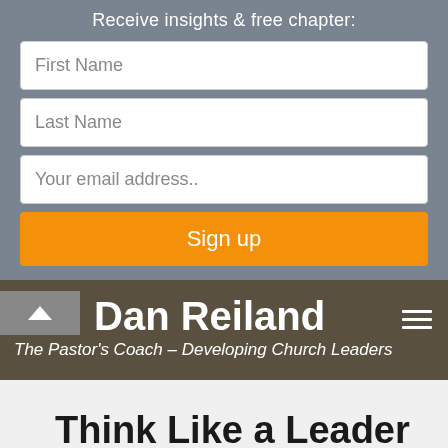Receive insights & free chapter:
First Name
Last Name
Your email address..
Sign up
Dan Reiland
The Pastor's Coach – Developing Church Leaders
Think Like a Leader